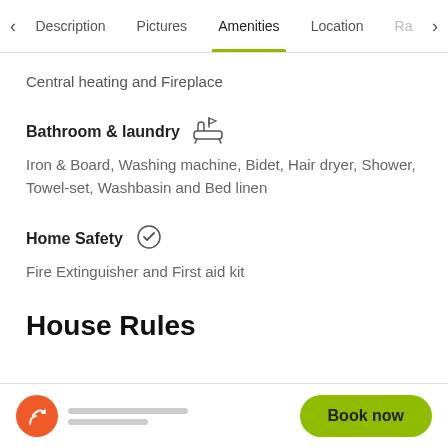< Description   Pictures   Amenities   Location   Ra >
Central heating and Fireplace
Bathroom & laundry
Iron & Board, Washing machine, Bidet, Hair dryer, Shower, Towel-set, Washbasin and Bed linen
Home Safety
Fire Extinguisher and First aid kit
House Rules
Book now